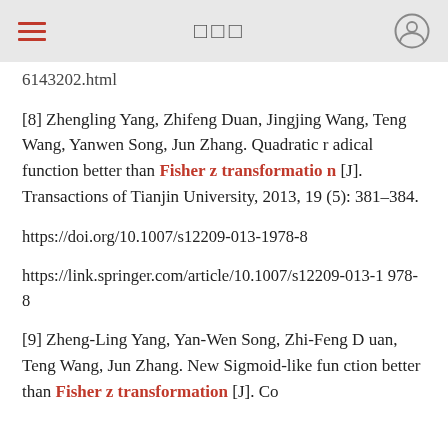≡  □□□  (user icon)
6143202.html
[8] Zhengling Yang, Zhifeng Duan, Jingjing Wang, Teng Wang, Yanwen Song, Jun Zhang. Quadratic radical function better than Fisher z transformation [J]. Transactions of Tianjin University, 2013, 19(5): 381–384.
https://doi.org/10.1007/s12209-013-1978-8
https://link.springer.com/article/10.1007/s12209-013-1978-8
[9] Zheng-Ling Yang, Yan-Wen Song, Zhi-Feng Duan, Teng Wang, Jun Zhang. New Sigmoid-like function better than Fisher z transformation [J]. Co